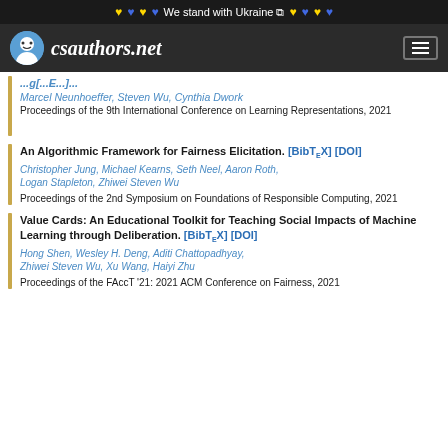We stand with Ukraine
csauthors.net
Marcel Neunhoeffer, Steven Wu, Cynthia Dwork
Proceedings of the 9th International Conference on Learning Representations, 2021
An Algorithmic Framework for Fairness Elicitation. [BibTeX] [DOI]
Christopher Jung, Michael Kearns, Seth Neel, Aaron Roth, Logan Stapleton, Zhiwei Steven Wu
Proceedings of the 2nd Symposium on Foundations of Responsible Computing, 2021
Value Cards: An Educational Toolkit for Teaching Social Impacts of Machine Learning through Deliberation. [BibTeX] [DOI]
Hong Shen, Wesley H. Deng, Aditi Chattopadhyay, Zhiwei Steven Wu, Xu Wang, Haiyi Zhu
Proceedings of the FAccT '21: 2021 ACM Conference on Fairness, 2021